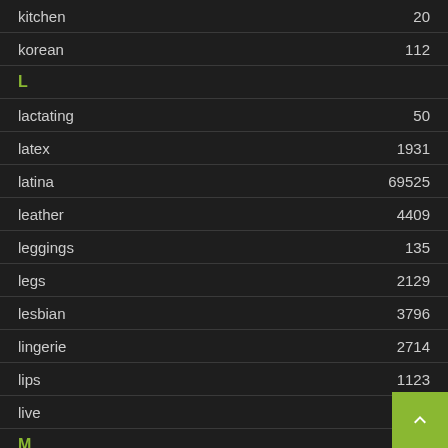kitchen  20
korean  112
L
lactating  50
latex  1931
latina  69525
leather  4409
leggings  135
legs  2129
lesbian  3796
lingerie  2714
lips  1123
live  82
M
machine